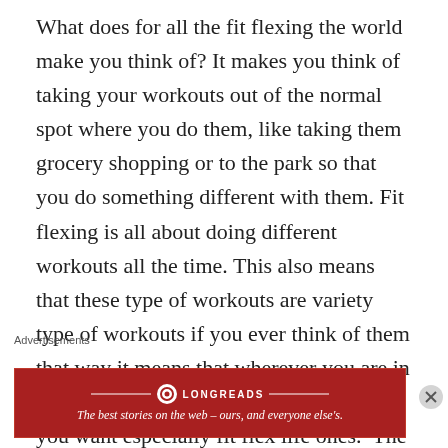What does for all the fit flexing the world make you think of? It makes you think of taking your workouts out of the normal spot where you do them, like taking them grocery shopping or to the park so that you do something different with them. Fit flexing is all about doing different workouts all the time. This also means that these type of workouts are variety type of workouts if you ever think of them that way it means that wherever you are in the world you can do any workout that you want especially fit flex life ones.  The best way to do this is to look at everything you do in life and the fitness you
Advertisements
[Figure (other): Longreads advertisement banner with red background, Longreads logo and tagline: The best stories on the web – ours, and everyone else's.]